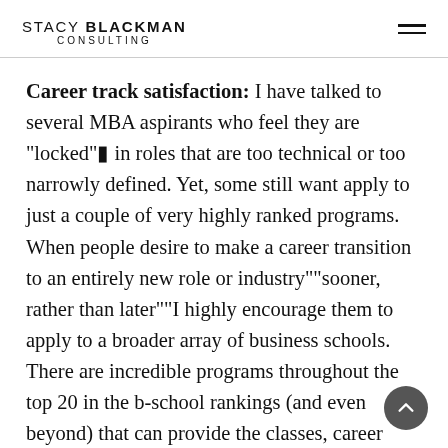STACY BLACKMAN CONSULTING
Career track satisfaction: I have talked to several MBA aspirants who feel they are "locked" in roles that are too technical or too narrowly defined. Yet, some still want apply to just a couple of very highly ranked programs. When people desire to make a career transition to an entirely new role or industry""sooner, rather than later""I highly encourage them to apply to a broader array of business schools. There are incredible programs throughout the top 20 in the b-school rankings (and even beyond) that can provide the classes, career